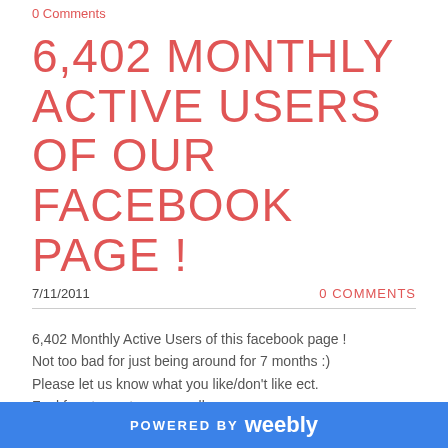0 Comments
6,402 MONTHLY ACTIVE USERS OF OUR FACEBOOK PAGE !
7/11/2011    0 COMMENTS
6,402 Monthly Active Users of this facebook page !
Not too bad for just being around for 7 months :)
Please let us know what you like/don't like ect.
Feel free to post on our wall or message us.
Our goal is to educate the public about the various aspects of adoption, and most of all, try to help at least 1 child find a "forever home & family!"
POWERED BY weebly